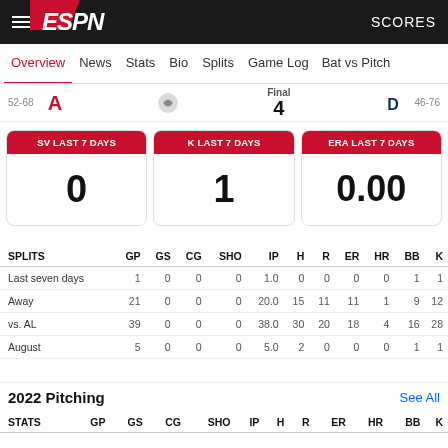ESPN  SCORES
Overview  News  Stats  Bio  Splits  Game Log  Bat vs Pitch
52-68  Final  4  46-76
SV LAST 7 DAYS: 0  |  K LAST 7 DAYS: 1  |  ERA LAST 7 DAYS: 0.00
| SPLITS | GP | GS | CG | SHO | IP | H | R | ER | HR | BB | K |
| --- | --- | --- | --- | --- | --- | --- | --- | --- | --- | --- | --- |
| Last seven days | 1 | 0 | 0 | 0 | 1.0 | 0 | 0 | 0 | 0 | 1 | 1 |
| Away | 21 | 0 | 0 | 0 | 20.0 | 15 | 11 | 11 | 1 | 9 | 12 |
| vs. AL | 39 | 0 | 0 | 0 | 38.0 | 30 | 20 | 18 | 4 | 16 | 28 |
| August | 5 | 0 | 0 | 0 | 5.0 | 2 | 0 | 0 | 0 | 1 | 1 |
2022 Pitching
See All
| STATS | GP | GS | CG | SHO | IP | H | R | ER | HR | BB | K |
| --- | --- | --- | --- | --- | --- | --- | --- | --- | --- | --- | --- |